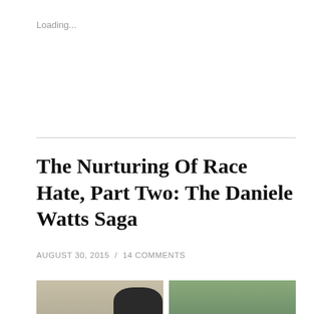Loading...
The Nurturing Of Race Hate, Part Two: The Daniele Watts Saga
AUGUST 30, 2015  /  14 COMMENTS
[Figure (photo): Two-panel photo: left panel shows two men in an outdoor setting, right panel shows a person laughing outdoors near foliage]